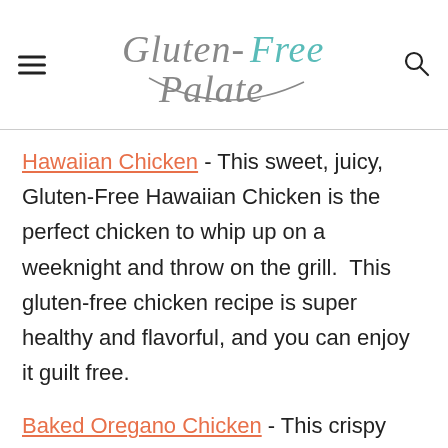Gluten-Free Palate
Hawaiian Chicken - This sweet, juicy, Gluten-Free Hawaiian Chicken is the perfect chicken to whip up on a weeknight and throw on the grill.  This gluten-free chicken recipe is super healthy and flavorful, and you can enjoy it guilt free.
Baked Oregano Chicken - This crispy Gluten-Free Baked Oregano Chicken is an easy weeknight dinner. Quick to whip up,